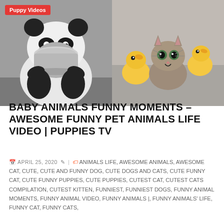[Figure (photo): Two side-by-side animal photos: left shows a panda holding a silver bowl up to its face; right shows a kitten surrounded by two yellow ducklings. A red badge reading 'Puppy Videos' overlays the top-left corner.]
BABY ANIMALS FUNNY MOMENTS – AWESOME FUNNY PET ANIMALS LIFE VIDEO | PUPPIES TV
APRIL 25, 2020 | ANIMALS LIFE, AWESOME ANIMALS, AWESOME CAT, CUTE, CUTE AND FUNNY DOG, CUTE DOGS AND CATS, CUTE FUNNY CAT, CUTE FUNNY PUPPIES, CUTE PUPPIES, CUTEST CAT, CUTEST CATS COMPILATION, CUTEST KITTEN, FUNNIEST, FUNNIEST DOGS, FUNNY ANIMAL MOMENTS, FUNNY ANIMAL VIDEO, FUNNY ANIMALS |, FUNNY ANIMALS' LIFE, FUNNY CAT, FUNNY CATS,